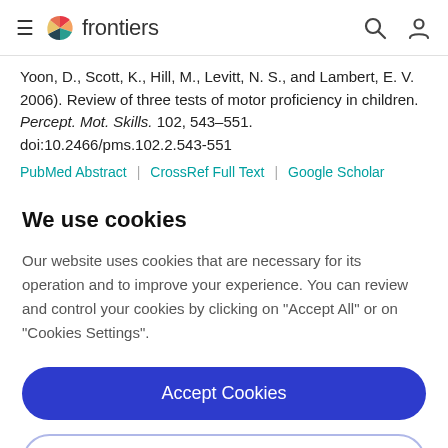frontiers
Yoon, D., Scott, K., Hill, M., Levitt, N. S., and Lambert, E. V. 2006). Review of three tests of motor proficiency in children. Percept. Mot. Skills. 102, 543–551. doi:10.2466/pms.102.2.543-551
PubMed Abstract | CrossRef Full Text | Google Scholar
We use cookies
Our website uses cookies that are necessary for its operation and to improve your experience. You can review and control your cookies by clicking on "Accept All" or on "Cookies Settings".
Accept Cookies
Cookies Settings